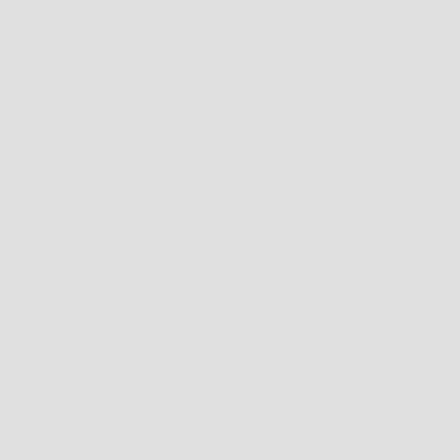think they would shore up that minor detail first before proceeding… Instead, full of rhetoric, bolstered by the cries of the AFL-CIO, Congress put forth two Senate bills this summer, paving a new path to combat "currency manipulators." Read: China, make your yuan